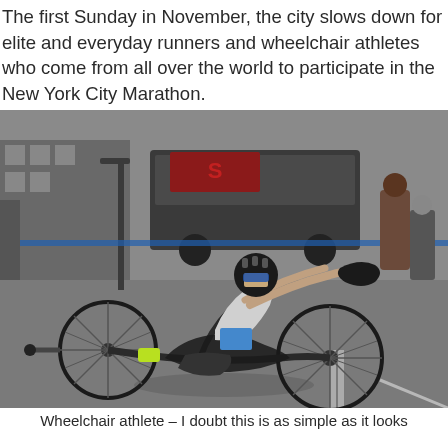The first Sunday in November, the city slows down for elite and everyday runners and wheelchair athletes who come from all over the world to participate in the New York City Marathon.
[Figure (photo): A wheelchair athlete competing in the New York City Marathon, riding a hand-cycle low to the ground on a city street. The athlete wears a helmet, sunglasses, and athletic clothing. Spectators and vehicles including a van are visible in the background.]
Wheelchair athlete – I doubt this is as simple as it looks